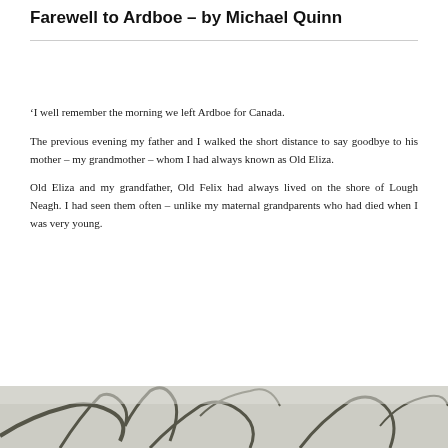Farewell to Ardboe – by Michael Quinn
'I well remember the morning we left Ardboe for Canada.
The previous evening my father and I walked the short distance to say goodbye to his mother – my grandmother – whom I had always known as Old Eliza.
Old Eliza and my grandfather, Old Felix had always lived on the shore of Lough Neagh. I had seen them often – unlike my maternal grandparents who had died when I was very young.
[Figure (photo): Partial view of a black and white photograph, showing branches or natural foliage, cropped at the bottom of the page.]